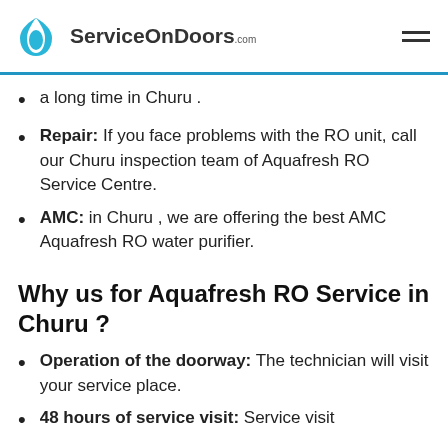ServiceOnDoors.com
a long time in Churu .
Repair: If you face problems with the RO unit, call our Churu inspection team of Aquafresh RO Service Centre.
AMC: in Churu , we are offering the best AMC Aquafresh RO water purifier.
Why us for Aquafresh RO Service in Churu ?
Operation of the doorway: The technician will visit your service place.
48 hours of service visit: Service visit